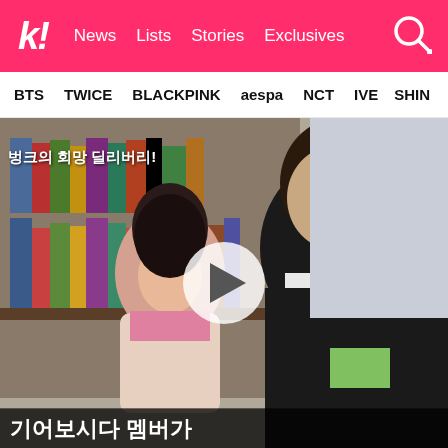k! News Lists Stories Exclusives [search]
BTS TWICE BLACKPINK aespa NCT IVE SHIN...
[Figure (screenshot): Video thumbnail screenshot showing a young Korean girl and a young man (idol) sitting in a library/bookshelf setting, reading together. Korean text subtitles at top-left and bottom of the image. A play button overlay in the center indicates this is a video embed.]